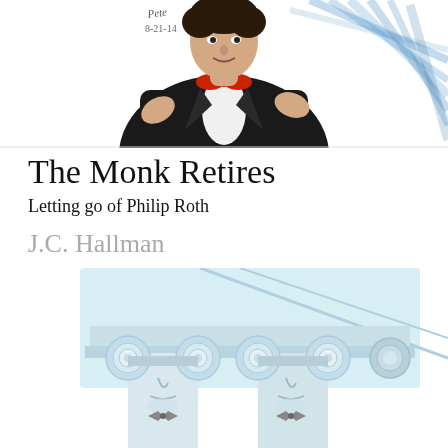[Figure (illustration): A watercolor/pencil illustration of a man in a black tuxedo with a red bow tie, gesturing with his hands. A signature and date '8-21-14' appear in the upper left corner. The figure is shown from the torso up against a white background with blue shading.]
The Monk Retires
Letting go of Philip Roth
J.C. Hallman
[Figure (illustration): A pencil/watercolor illustration of two classical Ionic column capitals, each drawn with a stylized human face (nose and lips visible), wearing bow ties. The capitals have spiral volutes forming face-like features. Behind them is a light blue architectural background with diagonal lines suggesting a building facade.]